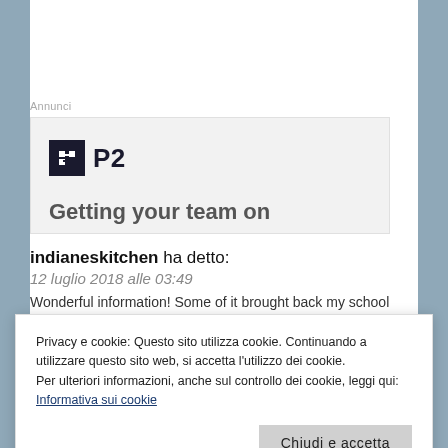Annunci
[Figure (logo): Advertisement box with P2 logo (dark square icon with H-like symbol and 'P2' text) and partial text 'Getting your team on' below]
indianeskitchen ha detto:
12 luglio 2018 alle 03:49
Wonderful information! Some of it brought back my school
Privacy e cookie: Questo sito utilizza cookie. Continuando a utilizzare questo sito web, si accetta l'utilizzo dei cookie.
Per ulteriori informazioni, anche sul controllo dei cookie, leggi qui:
Informativa sui cookie
Chiudi e accetta
sidilbradino1 ha detto: